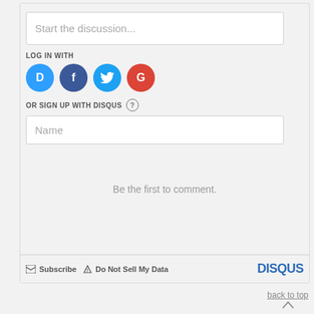Start the discussion...
LOG IN WITH
[Figure (illustration): Social login icons: Disqus (blue circle with D), Facebook (dark blue circle with f), Twitter (light blue circle with bird), Google (red circle with G)]
OR SIGN UP WITH DISQUS ?
Name
Be the first to comment.
Subscribe   Do Not Sell My Data   DISQUS
back to top